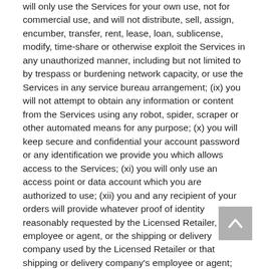will only use the Services for your own use, not for commercial use, and will not distribute, sell, assign, encumber, transfer, rent, lease, loan, sublicense, modify, time-share or otherwise exploit the Services in any unauthorized manner, including but not limited to by trespass or burdening network capacity, or use the Services in any service bureau arrangement; (ix) you will not attempt to obtain any information or content from the Services using any robot, spider, scraper or other automated means for any purpose; (x) you will keep secure and confidential your account password or any identification we provide you which allows access to the Services; (xi) you will only use an access point or data account which you are authorized to use; (xii) you and any recipient of your orders will provide whatever proof of identity reasonably requested by the Licensed Retailer, its employee or agent, or the shipping or delivery company used by the Licensed Retailer or that shipping or delivery company's employee or agent; and (xii) you will not permit any third party